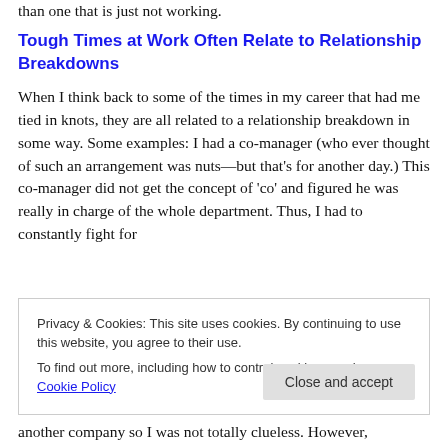than one that is just not working.
Tough Times at Work Often Relate to Relationship Breakdowns
When I think back to some of the times in my career that had me tied in knots, they are all related to a relationship breakdown in some way. Some examples: I had a co-manager (who ever thought of such an arrangement was nuts—but that's for another day.) This co-manager did not get the concept of 'co' and figured he was really in charge of the whole department. Thus, I had to constantly fight for
Privacy & Cookies: This site uses cookies. By continuing to use this website, you agree to their use.
To find out more, including how to control cookies, see here: Cookie Policy
another company so I was not totally clueless. However,